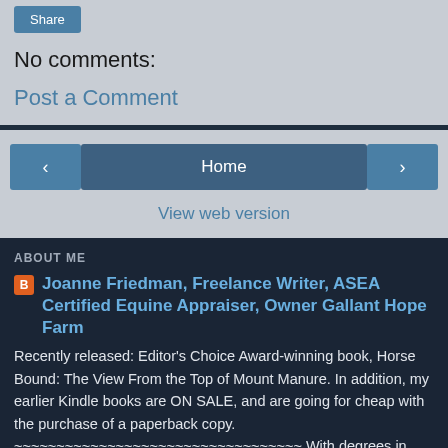[Figure (screenshot): Share button (blue rounded rectangle)]
No comments:
Post a Comment
[Figure (screenshot): Navigation bar with left arrow button, Home button, and right arrow button, plus View web version link]
ABOUT ME
Joanne Friedman, Freelance Writer, ASEA Certified Equine Appraiser, Owner Gallant Hope Farm
Recently released: Editor's Choice Award-winning book, Horse Bound: The View From the Top of Mount Manure. In addition, my earlier Kindle books are ON SALE, and are going for cheap with the purchase of a paperback copy. ~~~~~~~~~~~~~~~~~~~~~~~~~~~~~~~~~ With degrees in psychology and Special Education, I was a high school Special Ed